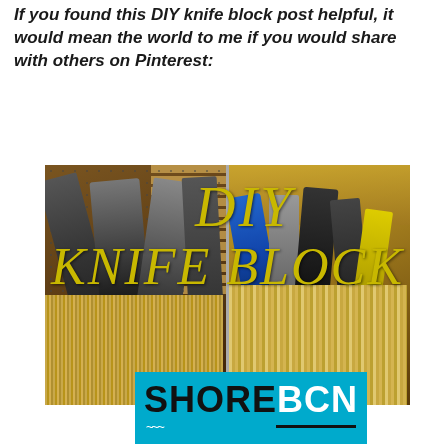If you found this DIY knife block post helpful, it would mean the world to me if you would share with others on Pinterest:
[Figure (photo): Two side-by-side photos of a DIY knife block. Left photo shows knives with dark handles stored in a wooden container filled with metal/bamboo skewers. Right photo shows colorful knife handles (blue, silver, black, yellow) stored in a wooden box filled with bamboo skewers. Overlaid text reads 'DIY KNIFE BLOCK' in gold italic serif font.]
[Figure (logo): ShoreBCN logo on a cyan/teal background. 'SHORE' in bold black text and 'BCN' in bold white text, with a wavy underline beneath 'SHORE' and a straight black underline beneath 'BCN'.]